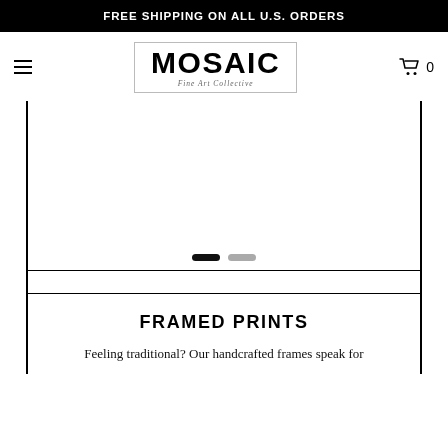FREE SHIPPING ON ALL U.S. ORDERS
[Figure (logo): Mosaic Fine Art Collective logo with border box]
[Figure (other): Main content image area with slider dots indicator (two dots: one active black, one inactive gray)]
FRAMED PRINTS
Feeling traditional? Our handcrafted frames speak for